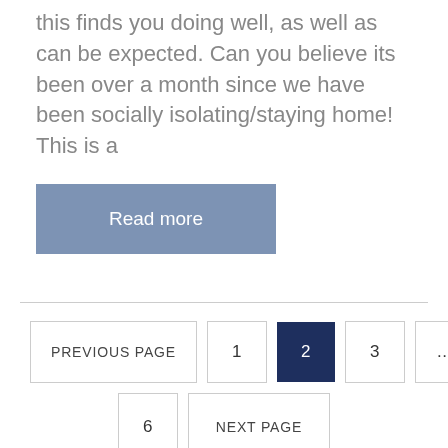this finds you doing well, as well as can be expected. Can you believe its been over a month since we have been socially isolating/staying home! This is a
Read more
PREVIOUS PAGE  1  2  3  ...  6  NEXT PAGE